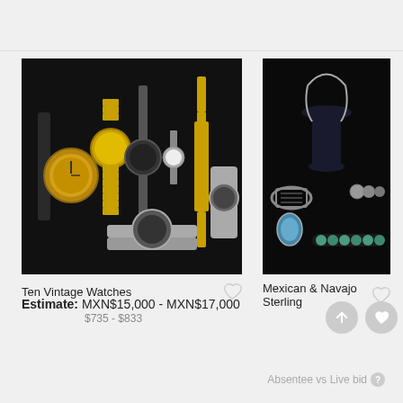[Figure (photo): Collection of ten vintage watches laid out on a black background, including gold-tone and silver-tone watches with various styles of bands]
[Figure (photo): Mexican and Navajo sterling silver jewelry collection on dark background, including a necklace on a bust display, a cuff bracelet, a pendant with turquoise stone, a link bracelet with turquoise stones, and other silver pieces]
Ten Vintage Watches
Mexican & Navajo Sterling
Estimate:  MXN$15,000 - MXN$17,000
$735 - $833
Login for Price
Absentee vs Live bid